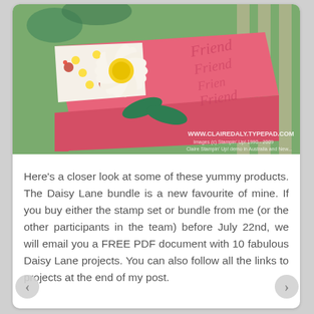[Figure (photo): A close-up photo of a handmade pink box/card decorated with a large white daisy flower, green leaves, patterned paper with small floral and dot designs in red, green and yellow, and embossed 'Friend' text repeated on pink cardstock. Watermark reads www.clairedaly.typepad.com with Stampin' Up! copyright notice.]
Here's a closer look at some of these yummy products. The Daisy Lane bundle is a new favourite of mine. If you buy either the stamp set or bundle from me (or the other participants in the team) before July 22nd, we will email you a FREE PDF document with 10 fabulous Daisy Lane projects. You can also follow all the links to projects at the end of my post.